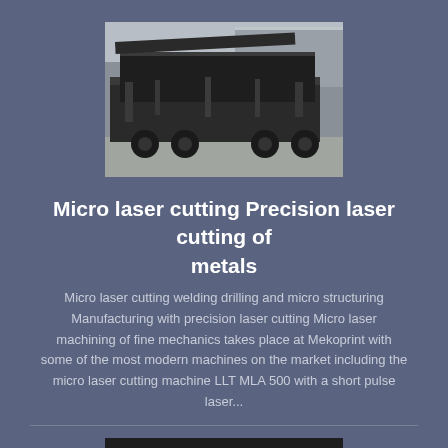[Figure (photo): A large industrial machine or equipment on a flatbed truck, photographed outdoors near a building]
Micro laser cutting Precision laser cutting of metals
Micro laser cutting welding drilling and micro structuring Manufacturing with precision laser cutting Micro laser machining of fine mechanics takes place at Mekoprint with some of the most modern machines on the market including the micro laser cutting machine LLT MLA 500 with a short pulse laser...
[Figure (photo): Close-up of laser cutting equipment showing a metal surface being cut, with visible red/orange guide bars and copper-colored mesh material]